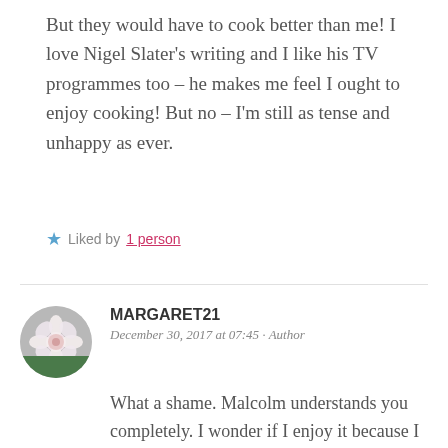But they would have to cook better than me! I love Nigel Slater's writing and I like his TV programmes too – he makes me feel I ought to enjoy cooking! But no – I'm still as tense and unhappy as ever.
★ Liked by 1 person
MARGARET21
December 30, 2017 at 07:45 · Author
What a shame. Malcolm understands you completely. I wonder if I enjoy it because I was 'helping' cook from about the age